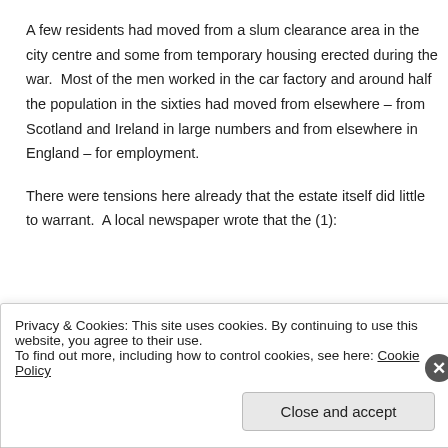A few residents had moved from a slum clearance area in the city centre and some from temporary housing erected during the war.  Most of the men worked in the car factory and around half the population in the sixties had moved from elsewhere – from Scotland and Ireland in large numbers and from elsewhere in England – for employment.
There were tensions here already that the estate itself did little to warrant.  A local newspaper wrote that the (1):
Privacy & Cookies: This site uses cookies. By continuing to use this website, you agree to their use.
To find out more, including how to control cookies, see here: Cookie Policy
Close and accept